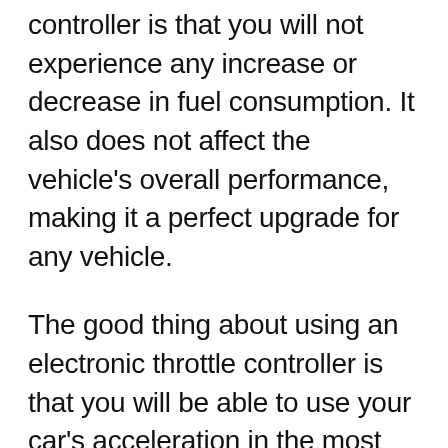controller is that you will not experience any increase or decrease in fuel consumption. It also does not affect the vehicle's overall performance, making it a perfect upgrade for any vehicle.
The good thing about using an electronic throttle controller is that you will be able to use your car's acceleration in the most efficient way possible. And since it does not increase or decrease fuel consumption, your car will run perfectly without any problems at all.